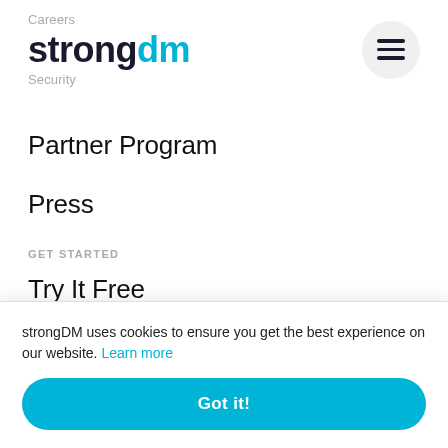Careers / strongdm / Security — Navigation header with hamburger menu
Partner Program
Press
GET STARTED
Try It Free
Get in Touch!
Sch...
strongDM uses cookies to ensure you get the best experience on our website. Learn more
Got it!